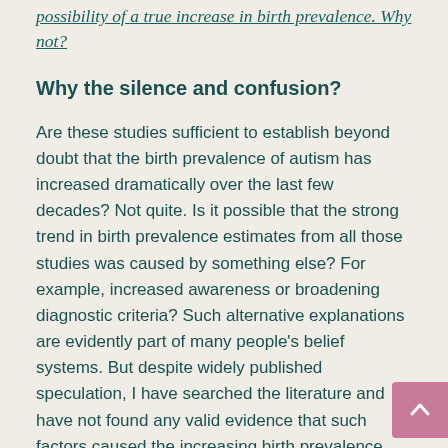possibility of a true increase in birth prevalence. Why not?
Why the silence and confusion?
Are these studies sufficient to establish beyond doubt that the birth prevalence of autism has increased dramatically over the last few decades? Not quite. Is it possible that the strong trend in birth prevalence estimates from all those studies was caused by something else? For example, increased awareness or broadening diagnostic criteria? Such alternative explanations are evidently part of many people's belief systems. But despite widely published speculation, I have searched the literature and have not found any valid evidence that such factors caused the increasing birth prevalence estimates.